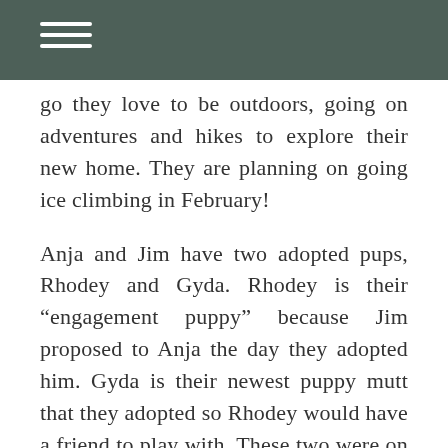go they love to be outdoors, going on adventures and hikes to explore their new home. They are planning on going ice climbing in February!
Anja and Jim have two adopted pups, Rhodey and Gyda. Rhodey is their “engagement puppy” because Jim proposed to Anja the day they adopted him. Gyda is their newest puppy mutt that they adopted so Rhodey would have a friend to play with. These two were on cloud nine up on Loveland Pass playing in the snow during Anja and Jim’s session.
Speaking of SNOW, I have never seen so much snow up on Loveland Pass this time of year. At